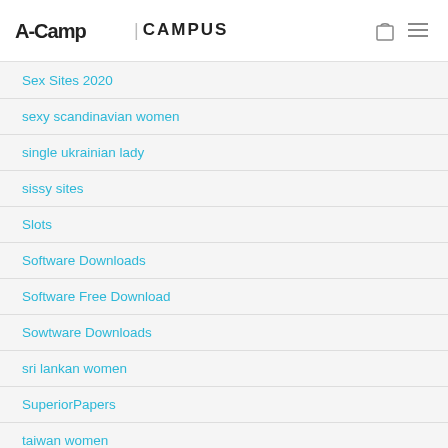A-Camp | CAMPUS
Sex Sites 2020
sexy scandinavian women
single ukrainian lady
sissy sites
Slots
Software Downloads
Software Free Download
Sowtware Downloads
sri lankan women
SuperiorPapers
taiwan women
Top Rated Resume Writing Services
TopSlots